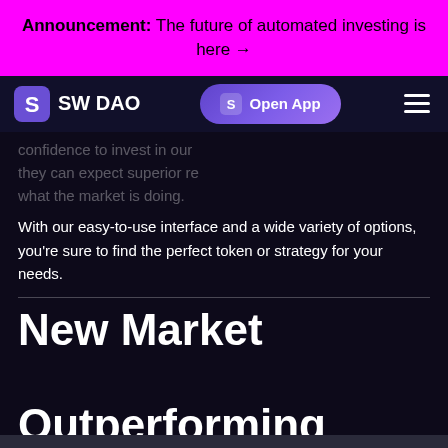Announcement: The future of automated investing is here →
[Figure (logo): SW DAO logo with navigation bar including Open App button and hamburger menu]
confidence to invest in our they can expect superior re what the market is doing.
With our easy-to-use interface and a wide variety of options, you're sure to find the perfect token or strategy for your needs.
New Market Outperforming Products Available